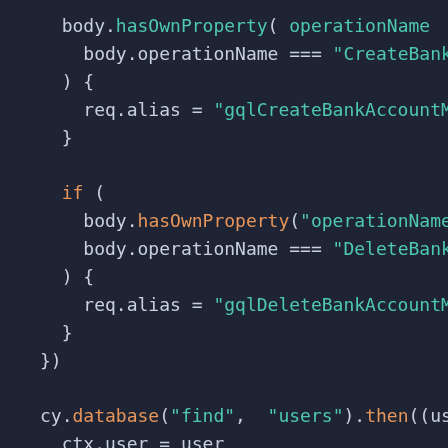[Figure (screenshot): Code editor screenshot showing JavaScript code with syntax highlighting on a dark background (#1e2433). Code includes conditional blocks checking body.hasOwnProperty('operationName') and body.operationName === 'CreateBankA...' and 'DeleteBankA...', setting req.alias to 'gqlCreateBankAccountMu...' and 'gqlDeleteBankAccountMu...', followed by cy.database('find', 'users').then((user... and ctx.user = user.]